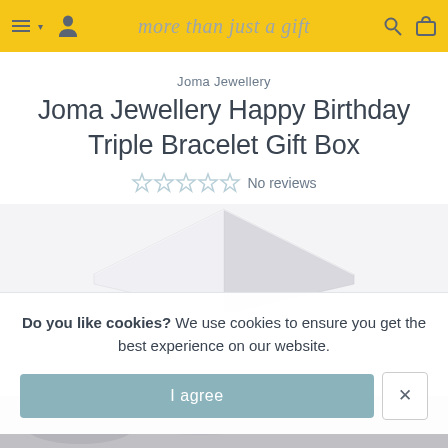more than just a gift
Joma Jewellery
Joma Jewellery Happy Birthday Triple Bracelet Gift Box
No reviews
[Figure (photo): Corner of a white gift box partially visible]
Do you like cookies?  We use cookies to ensure you get the best experience on our website.
I agree
[Figure (photo): Bottom edge of product image with jewellery visible]